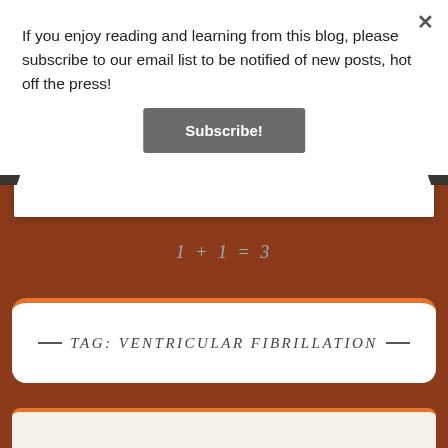If you enjoy reading and learning from this blog, please subscribe to our email list to be notified of new posts, hot off the press!
Subscribe!
[Figure (illustration): Paper card with dark corner clips/binders on a brown background]
1 + 1 = 3
TAG: VENTRICULAR FIBRILLATION
[Figure (illustration): Partially visible bottom card with orange top border on brown background]